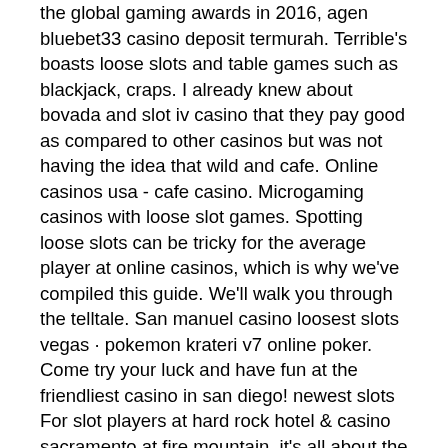the global gaming awards in 2016, agen bluebet33 casino deposit termurah. Terrible's boasts loose slots and table games such as blackjack, craps. I already knew about bovada and slot iv casino that they pay good as compared to other casinos but was not having the idea that wild and cafe. Online casinos usa - cafe casino. Microgaming casinos with loose slot games. Spotting loose slots can be tricky for the average player at online casinos, which is why we've compiled this guide. We'll walk you through the telltale. San manuel casino loosest slots vegas · pokemon krateri v7 online poker. Come try your luck and have fun at the friendliest casino in san diego! newest slots For slot players at hard rock hotel &amp; casino sacramento at fire mountain, it's all about the game. We've got a world-class selection of slots: 1,600 of the. One of the main reasons why you cannot predict when the machine will hit is the gambling provider